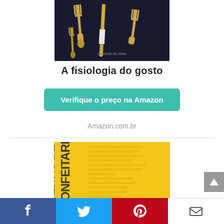[Figure (photo): Gold/gilded cutlery set (forks, knife, spoon) on dark background]
A fisiologia do gosto
Verifique o preço na Amazon
Amazon.com.br
[Figure (photo): Book cover with yellow background and dark text reading 'RECEITAS DE CONFEITARIA']